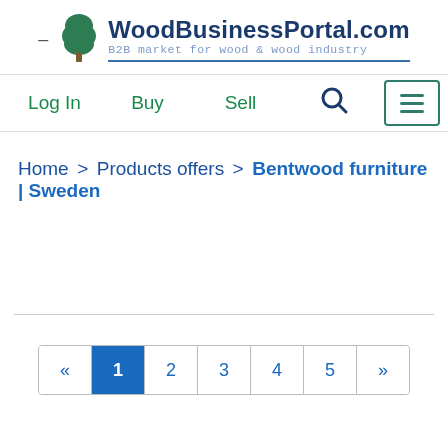WoodBusinessPortal.com — B2B market for wood & wood industry
Log In  Buy  Sell  [Search] [Menu]
Home > Products offers > Bentwood furniture | Sweden
« 1 2 3 4 5 »